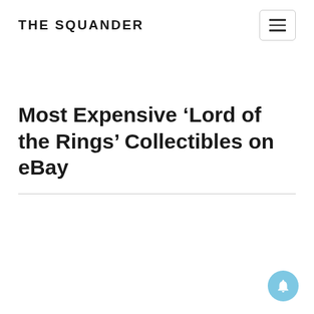THE SQUANDER
Most Expensive ‘Lord of the Rings’ Collectibles on eBay